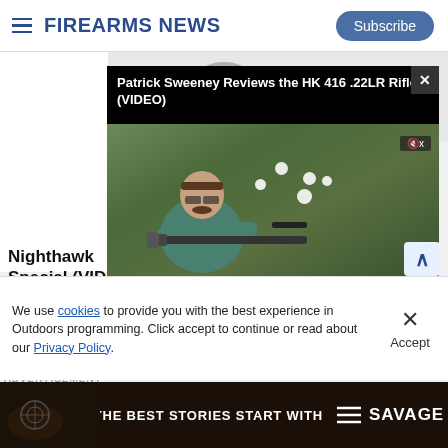Firearms News
[Figure (screenshot): Video player showing Patrick Sweeney Reviews the HK 416 .22LR Rifle (VIDEO), with a man holding a rifle outdoors, video duration 02:50, video controls visible]
Nighthawk Special (VID...
Firearms News Staff
We use cookies to provide you with the best experience in Outdoors programming. Click accept to continue or read about our Privacy Policy.
[Figure (screenshot): Advertisement banner: THE BEST STORIES START WITH SAVAGE (Savage Arms logo)]